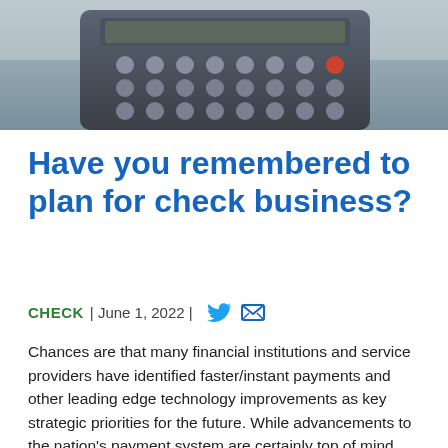[Figure (photo): Close-up photograph of a calculator/payment terminal with buttons visible, gray and black tones.]
Have you remembered to plan for check business?
CHECK | June 1, 2022 |
Chances are that many financial institutions and service providers have identified faster/instant payments and other leading edge technology improvements as key strategic priorities for the future. While advancements to the nation's payment system are certainly top of mind, financial services professionals